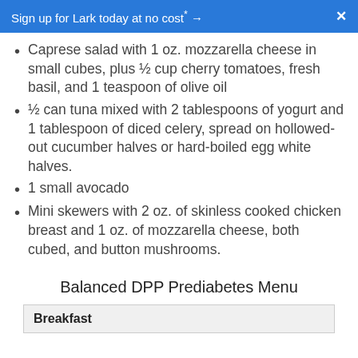Sign up for Lark today at no cost* → ×
Caprese salad with 1 oz. mozzarella cheese in small cubes, plus ½ cup cherry tomatoes, fresh basil, and 1 teaspoon of olive oil
½ can tuna mixed with 2 tablespoons of yogurt and 1 tablespoon of diced celery, spread on hollowed-out cucumber halves or hard-boiled egg white halves.
1 small avocado
Mini skewers with 2 oz. of skinless cooked chicken breast and 1 oz. of mozzarella cheese, both cubed, and button mushrooms.
Balanced DPP Prediabetes Menu
| Breakfast |
| --- |